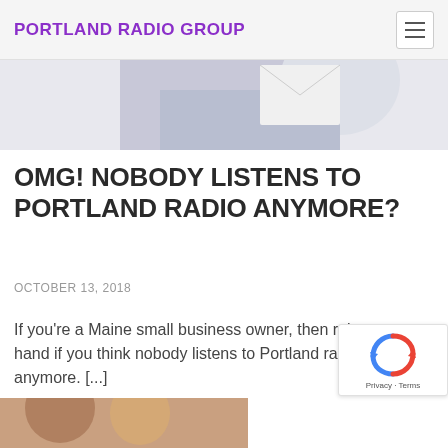PORTLAND RADIO GROUP
[Figure (photo): Partial image of a person in a light blue/gray top visible at top of page]
OMG! NOBODY LISTENS TO PORTLAND RADIO ANYMORE?
OCTOBER 13, 2018
If you’re a Maine small business owner, then raise your hand if you think nobody listens to Portland radio anymore. [...]
[Figure (photo): reCAPTCHA badge with recycle-like arrow logo and Privacy · Terms text]
[Figure (photo): Partial image visible at the bottom of the page]